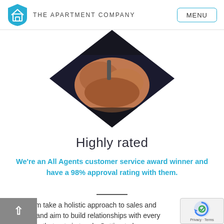THE APARTMENT COMPANY  MENU
[Figure (photo): Diamond/rhombus-cropped photo of hands clasped together, dark background]
Highly rated
We're an All Agents customer service award winner and have a 98% approval rating with them.
Our team take a holistic approach to sales and lettings and aim to build relationships with every customer that gets in touch. Getting to know our